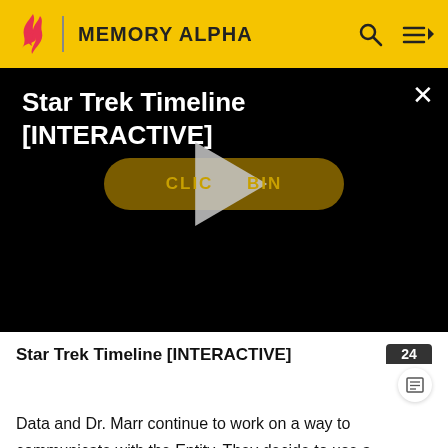MEMORY ALPHA
[Figure (screenshot): Star Trek Timeline [INTERACTIVE] video thumbnail with dark background, play button overlay, and a golden 'CLICK TO BEGIN' button. White X close button in top right.]
Star Trek Timeline [INTERACTIVE]
Data and Dr. Marr continue to work on a way to communicate with the Entity. They decide to use a graviton pulse to communicate with it. Dr. Marr creates a